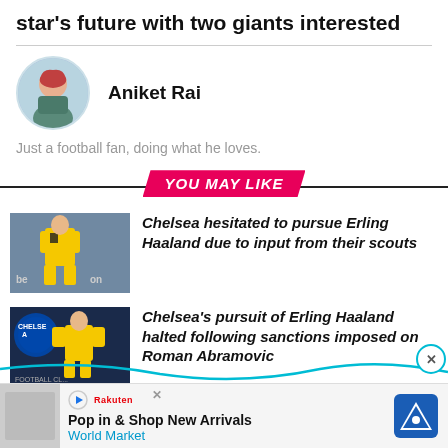star's future with two giants interested
Aniket Rai
Just a football fan, doing what he loves.
YOU MAY LIKE
[Figure (photo): Erling Haaland in Borussia Dortmund yellow and black kit]
Chelsea hesitated to pursue Erling Haaland due to input from their scouts
[Figure (photo): Erling Haaland with Chelsea FC logo in background]
Chelsea's pursuit of Erling Haaland halted following sanctions imposed on Roman Abramovic
[Figure (infographic): Advertisement banner: Pop in & Shop New Arrivals – World Market]